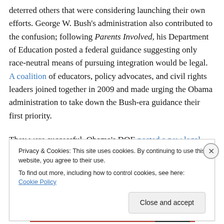deterred others that were considering launching their own efforts. George W. Bush's administration also contributed to the confusion; following Parents Involved, his Department of Education posted a federal guidance suggesting only race-neutral means of pursuing integration would be legal. A coalition of educators, policy advocates, and civil rights leaders joined together in 2009 and made urging the Obama administration to take down the Bush-era guidance their first priority.
They were successful. Obama's DOE posted a new legal guidance in 2011 affirming that...
Privacy & Cookies: This site uses cookies. By continuing to use this website, you agree to their use. To find out more, including how to control cookies, see here: Cookie Policy
Close and accept